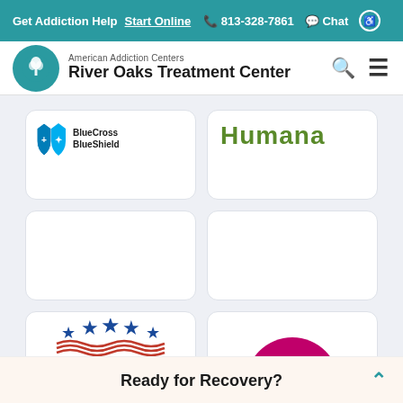Get Addiction Help  Start Online  813-328-7861  Chat
[Figure (logo): American Addiction Centers - River Oaks Treatment Center logo with teal circular icon and navigation icons]
[Figure (logo): BlueCross BlueShield insurance logo card]
[Figure (logo): Humana insurance logo card]
[Figure (other): Empty insurance card placeholder]
[Figure (other): Empty insurance card placeholder]
[Figure (logo): Military Stars / Tricare insurance logo card]
[Figure (logo): Pink circle insurance logo card (partially visible)]
Ready for Recovery?